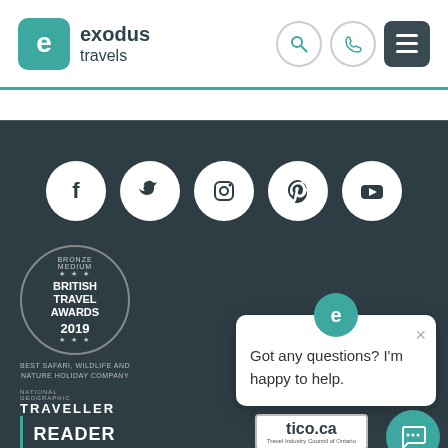[Figure (logo): Exodus Travels logo with teal 'e' icon and company name]
[Figure (infographic): Social media icons row: Facebook, Twitter, Instagram, Pinterest, YouTube]
[Figure (logo): British Travel Awards 2019 Bronze Medium badge - Best Safari, Wildlife and Nature Holiday Company]
[Figure (infographic): Chat popup with Exodus 'e' icon saying: Got any questions? I'm happy to help.]
[Figure (logo): National Geographic Traveller Reader Awards 2019 Winner]
[Figure (logo): tico.ca - Travel Industry Council of Ontario logo]
[Figure (infographic): Teal chat button in bottom right corner]